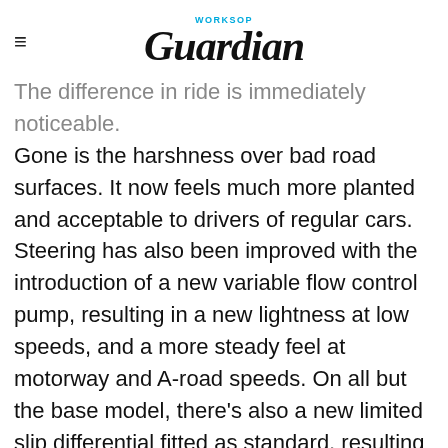WORKSOP Guardian
The difference in ride is immediately noticeable. Gone is the harshness over bad road surfaces. It now feels much more planted and acceptable to drivers of regular cars. Steering has also been improved with the introduction of a new variable flow control pump, resulting in a new lightness at low speeds, and a more steady feel at motorway and A-road speeds. On all but the base model, there's also a new limited slip differential fitted as standard, resulting in better traction in low-grip situations in rear-wheel drive mode.